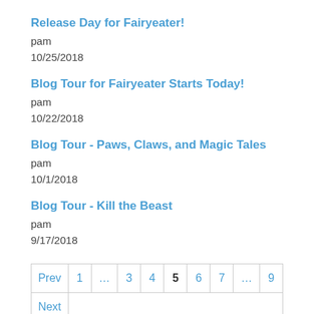Release Day for Fairyeater!
pam
10/25/2018
Blog Tour for Fairyeater Starts Today!
pam
10/22/2018
Blog Tour - Paws, Claws, and Magic Tales
pam
10/1/2018
Blog Tour - Kill the Beast
pam
9/17/2018
| Prev | 1 | … | 3 | 4 | 5 | 6 | 7 | … | 9 |
| Next |  |  |  |  |  |  |  |  |  |